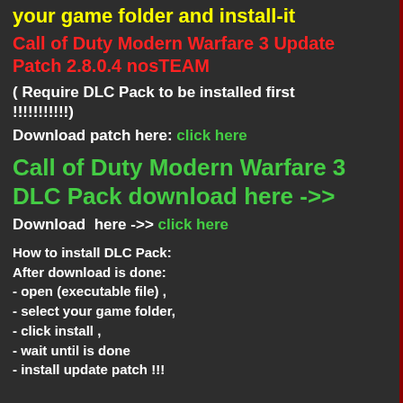your game folder and install-it
Call of Duty Modern Warfare 3 Update Patch 2.8.0.4 nosTEAM
( Require DLC Pack to be installed first !!!!!!!!!!!)
Download patch here: click here
Call of Duty Modern Warfare 3 DLC Pack download here ->>
Download  here ->> click here
How to install DLC Pack:
After download is done:
- open (executable file) ,
- select your game folder,
- click install ,
- wait until is done
- install update patch !!!